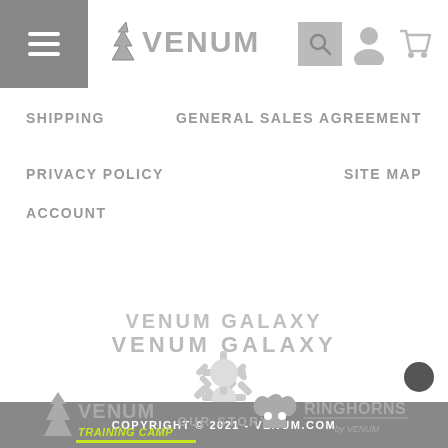[Figure (logo): Venum logo with snake head icon and VENUM text in header navigation bar]
[Figure (illustration): Navigation icons: search (magnifying glass with grey background), user account icon, shopping cart icon]
SHIPPING
GENERAL SALES AGREEMENT
PRIVACY POLICY
SITE MAP
ACCOUNT
VENUM GALAXY
[Figure (illustration): Loading spinner / sunburst icon in grey]
OUR STORY
[Figure (logo): Venum Training Camp logo - snake icon with VENUM TRAINING CAMP text, green underline]
[Figure (logo): Ringhorns by Venum logo - bull skull icon with RINGHORNS text]
COPYRIGHT © 2021 - VENUM.COM